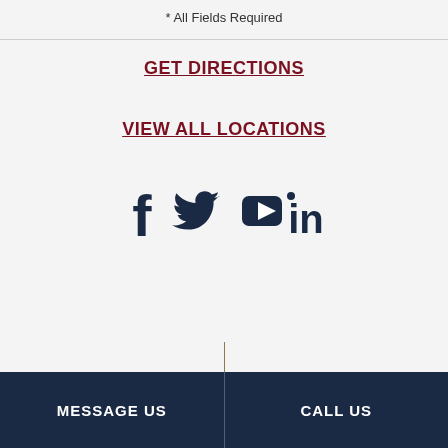* All Fields Required
GET DIRECTIONS
VIEW ALL LOCATIONS
[Figure (infographic): Social media icons: Facebook, Twitter, YouTube, LinkedIn in dark navy color]
MESSAGE US   CALL US